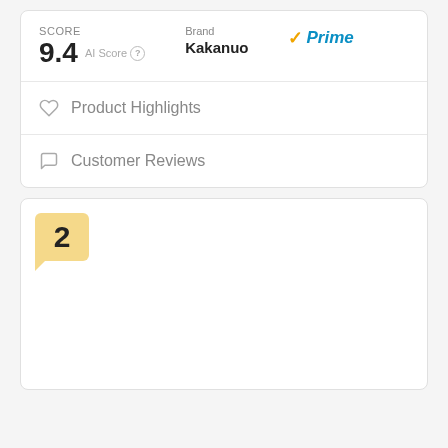SCORE
9.4 AI Score
Brand
Kakanuo
✓Prime
♡  Product Highlights
□  Customer Reviews
2